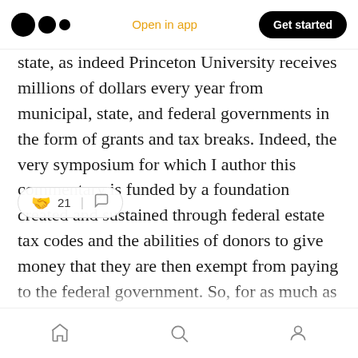Medium app header — logo, Open in app, Get started
state, as indeed Princeton University receives millions of dollars every year from municipal, state, and federal governments in the form of grants and tax breaks. Indeed, the very symposium for which I author this commentary is funded by a foundation created and sustained through federal estate tax codes and the abilities of donors to give money that they are then exempt from paying to the federal government. So, for as much as community archives and those who have done the work (myself included) with them in the US li[k]e 👏 21 [comment icon] [n]emselves with the state, we are convening a forum on said
Home, Search, Profile navigation icons